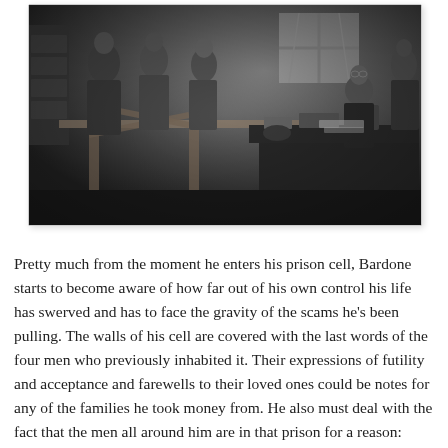[Figure (photo): Black and white film still showing several people in winter coats standing before a counter or desk, where a uniformed official sits with papers, in what appears to be a government or prison intake office setting.]
Pretty much from the moment he enters his prison cell, Bardone starts to become aware of how far out of his own control his life has swerved and has to face the gravity of the scams he's been pulling. The walls of his cell are covered with the last words of the four men who previously inhabited it. Their expressions of futility and acceptance and farewells to their loved ones could be notes for any of the families he took money from. He also must deal with the fact that the men all around him are in that prison for a reason: because